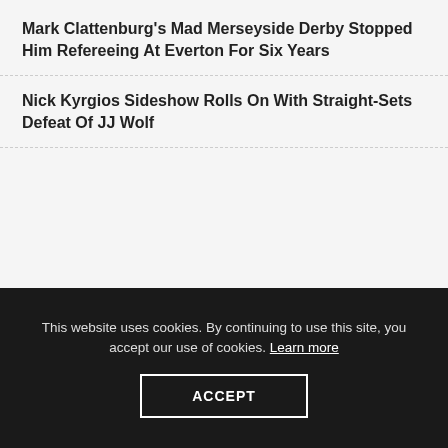Mark Clattenburg's Mad Merseyside Derby Stopped Him Refereeing At Everton For Six Years
Nick Kyrgios Sideshow Rolls On With Straight-Sets Defeat Of JJ Wolf
This website uses cookies. By continuing to use this site, you accept our use of cookies. Learn more
ACCEPT